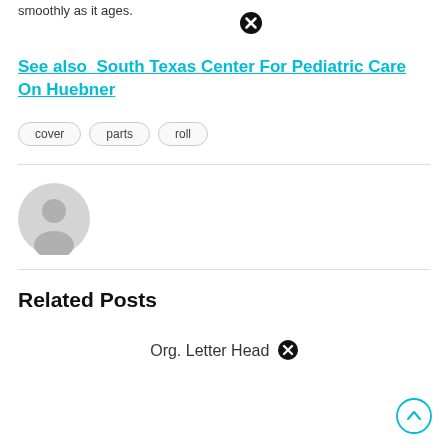smoothly as it ages.
See also  South Texas Center For Pediatric Care On Huebner
cover
parts
roll
[Figure (illustration): Default user avatar circle icon in gray]
Related Posts
Org. Letter Head